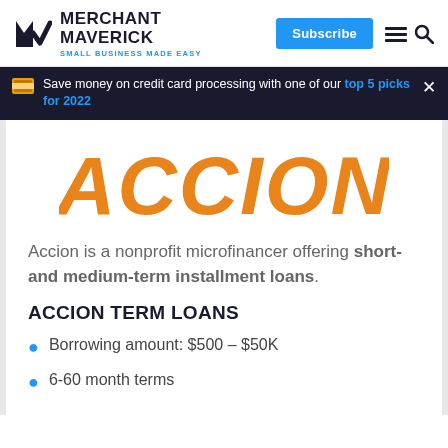Merchant Maverick - Small Business Made Easy
Save money on credit card processing with one of our top 5 picks for 2022
[Figure (logo): Accion orange logo with large stylized text ACCION in orange]
Accion is a nonprofit microfinancer offering short- and medium-term installment loans.
ACCION TERM LOANS
Borrowing amount: $500 – $50K
6-60 month terms